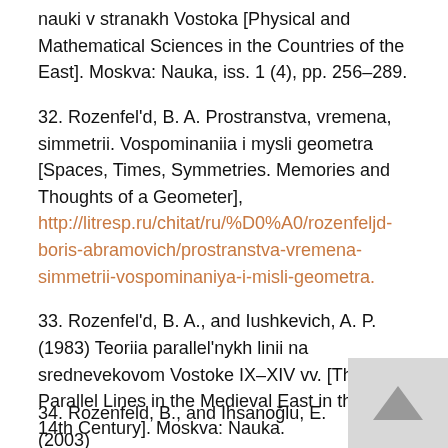nauki v stranakh Vostoka [Physical and Mathematical Sciences in the Countries of the East]. Moskva: Nauka, iss. 1 (4), pp. 256–289.
32. Rozenfel'd, B. A. Prostranstva, vremena, simmetrii. Vospominaniia i mysli geometra [Spaces, Times, Symmetries. Memories and Thoughts of a Geometer], http://litresp.ru/chitat/ru/%D0%A0/rozenfeljd-boris-abramovich/prostranstva-vremena-simmetrii-vospominaniya-i-misli-geometra.
33. Rozenfel'd, B. A., and Iushkevich, A. P. (1983) Teoriia parallel'nykh linii na srednevekovom Vostoke IX–XIV vv. [Theory of Parallel Lines in the Medieval East in the 9th – 14th Century]. Moskva: Nauka.
34. Rozenfeld, B., and Ihsanoğlu, E. (2003)